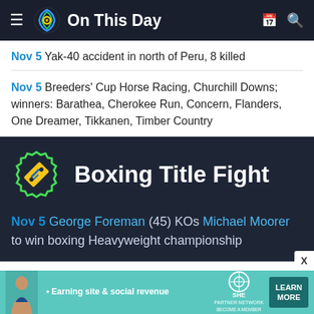On This Day
Nov 5 Yak-40 accident in north of Peru, 8 killed
Nov 5 Breeders' Cup Horse Racing, Churchill Downs; winners: Barathea, Cherokee Run, Concern, Flanders, One Dreamer, Tikkanen, Timber Country
[Figure (illustration): Boxing title fight banner with a stylized ticket icon in yellow and blue with green badge border]
Nov 5 George Foreman (45) KOs Michael Moorer to win boxing Heavyweight championship
[Figure (infographic): SHE Partner Network advertisement banner with a woman, logo, and Learn More button]